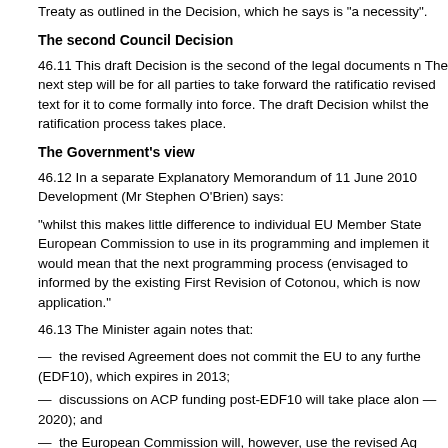Treaty as outlined in the Decision, which he says is 'a necessity'.
The second Council Decision
46.11 This draft Decision is the second of the legal documents n The next step will be for all parties to take forward the ratification revised text for it to come formally into force. The draft Decision whilst the ratification process takes place.
The Government's view
46.12 In a separate Explanatory Memorandum of 11 June 2010 Development (Mr Stephen O'Brien) says:
"whilst this makes little difference to individual EU Member State European Commission to use in its programming and implemen it would mean that the next programming process (envisaged to informed by the existing First Revision of Cotonou, which is now application."
46.13 The Minister again notes that:
—  the revised Agreement does not commit the EU to any furthe (EDF10), which expires in 2013;
—  discussions on ACP funding post-EDF10 will take place alon — 2020); and
—  the European Commission will, however, use the revised Ag 2015, when this Agreement will next be considered for revision.
46.14 Finally, the Minister says that this Decision is to be adopted